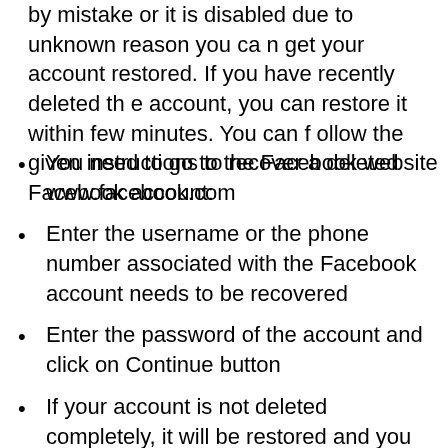by mistake or it is disabled due to unknown reason you can get your account restored. If you have recently deleted the account, you can restore it within few minutes. You can follow the given instructions to recover a deleted Facebook account:
You need to go to the Facebook website www.facebook.com
Enter the username or the phone number associated with the Facebook account needs to be recovered
Enter the password of the account and click on Continue button
If your account is not deleted completely, it will be restored and you will get access to your account immediately. If it doesn't restore the account because it is too late now, you can use another Facebook account recovery method.
You need to fill up a form and send it to Facebook by visiting the link
https://www.facebook.com/help/contact/260749606876...